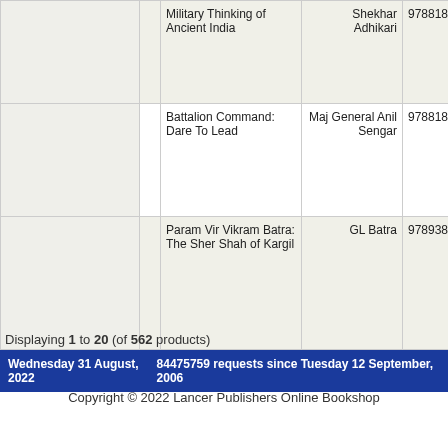|  |  | Title | Author | ISBN |
| --- | --- | --- | --- | --- |
|  |  | Military Thinking of Ancient India | Shekhar Adhikari | 9788182745... |
|  |  | Battalion Command: Dare To Lead | Maj General Anil Sengar | 9788182745... |
|  |  | Param Vir Vikram Batra: The Sher Shah of Kargil | GL Batra | 9789384038... |
Displaying 1 to 20 (of 562 products)
Wednesday 31 August, 2022    84475759 requests since Tuesday 12 September, 2006
Copyright © 2022 Lancer Publishers Online Bookshop